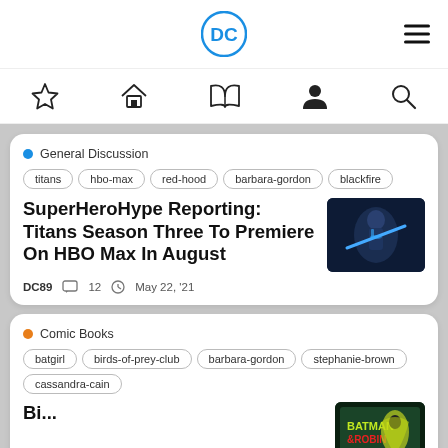[Figure (logo): DC Comics circular blue logo with 'DC' text in white]
[Figure (illustration): Navigation icons: star (favorites), house (home), open book, person (profile), magnifying glass (search)]
General Discussion
titans
hbo-max
red-hood
barbara-gordon
blackfire
SuperHeroHype Reporting: Titans Season Three To Premiere On HBO Max In August
[Figure (photo): A superhero in blue and black suit with glowing blue light saber/staff in dark scene]
DC89   12   May 22, '21
Comic Books
batgirl
birds-of-prey-club
barbara-gordon
stephanie-brown
cassandra-cain
[Figure (photo): Batman/Robin comic book cover with green and red colors]